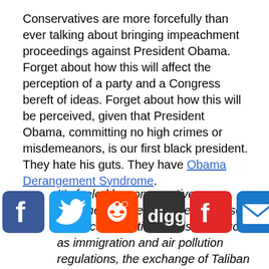Conservatives are more forcefully than ever talking about bringing impeachment proceedings against President Obama. Forget about how this will affect the perception of a party and a Congress bereft of ideas. Forget about how this will be perceived, given that President Obama, committing no high crimes or misdemeanors, is our first black president. They hate his guts. They have Obama Derangement Syndrome.
It's fueled by conservative anger over the president's increasing use of executive actions on issues such as immigration and air pollution regulations, the exchange of Taliban detainees for the release of U.S. Army Sgt. Bowe Bergdhal, and the familiar issue of the A...
[Figure (other): Social sharing bar with icons for Facebook, Twitter, Reddit, Digg, Flipboard, and Email]